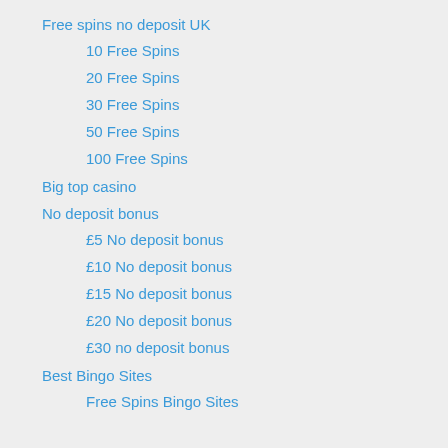Free spins no deposit UK
10 Free Spins
20 Free Spins
30 Free Spins
50 Free Spins
100 Free Spins
Big top casino
No deposit bonus
£5 No deposit bonus
£10 No deposit bonus
£15 No deposit bonus
£20 No deposit bonus
£30 no deposit bonus
Best Bingo Sites
Free Spins Bingo Sites